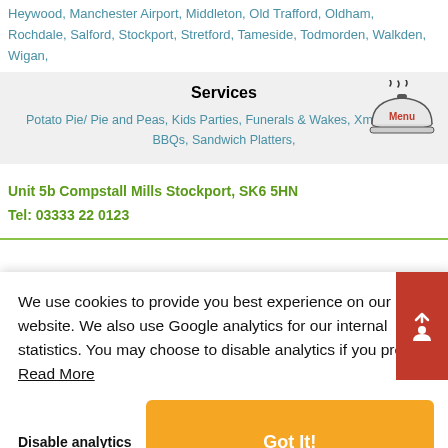Heywood, Manchester Airport, Middleton, Old Trafford, Oldham, Rochdale, Salford, Stockport, Stretford, Tameside, Todmorden, Walkden, Wigan,
Services
Potato Pie/ Pie and Peas, Kids Parties, Funerals & Wakes, Xmas Menus, BBQs, Sandwich Platters,
[Figure (illustration): Cloche/dish cover icon with steam lines above it and 'Menu' text overlay in red]
Unit 5b Compstall Mills Stockport, SK6 5HN
Tel: 03333 22 0123
We use cookies to provide you best experience on our website. We also use Google analytics for our internal statistics. You may choose to disable analytics if you prefer. Read More
Disable analytics
Got It!